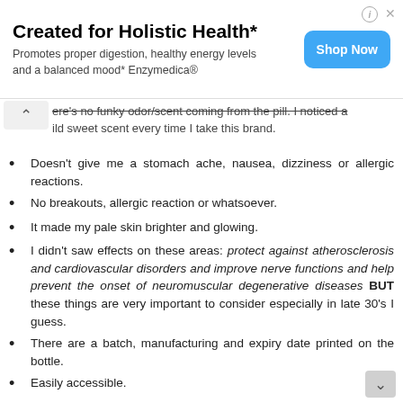[Figure (other): Advertisement banner for Enzymedica holistic health product with Shop Now button]
ere's no funky odor/scent coming from the pill. I noticed a ild sweet scent every time I take this brand.
Doesn't give me a stomach ache, nausea, dizziness or allergic reactions.
No breakouts, allergic reaction or whatsoever.
It made my pale skin brighter and glowing.
I didn't saw effects on these areas: protect against atherosclerosis and cardiovascular disorders and improve nerve functions and help prevent the onset of neuromuscular degenerative diseases BUT these things are very important to consider especially in late 30's I guess.
There are a batch, manufacturing and expiry date printed on the bottle.
Easily accessible.
Aside from skin benefits, my ob-gyne advised me to take this as a preparation for healthy pregnancy together with folic acid.